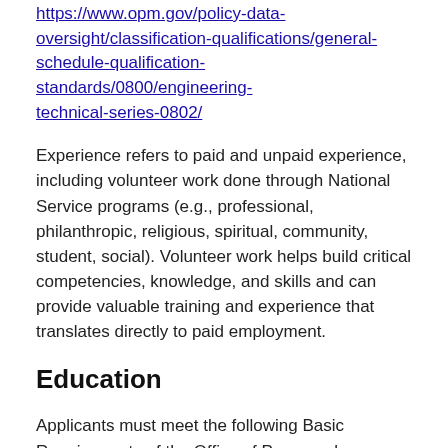https://www.opm.gov/policy-data-oversight/classification-qualifications/general-schedule-qualification-standards/0800/engineering-technical-series-0802/
Experience refers to paid and unpaid experience, including volunteer work done through National Service programs (e.g., professional, philanthropic, religious, spiritual, community, student, social). Volunteer work helps build critical competencies, knowledge, and skills and can provide valuable training and experience that translates directly to paid employment.
Education
Applicants must meet the following Basic Requirements of the Office of Personnel Management (OPM) Qualification Standards Manual. Applicants must...